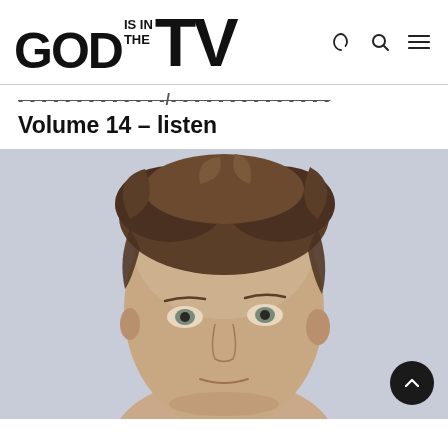GOD IS IN THE TV
...... ......../.. .............. Volume 14 – listen
[Figure (photo): Close-up portrait of a young man with medium-length tousled brown hair, light blue-grey eyes, looking directly at camera against a light grey background.]